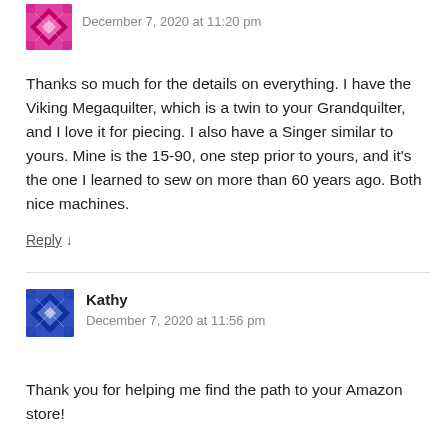[Figure (illustration): Pink/magenta quilting pattern avatar icon]
December 7, 2020 at 11:20 pm
Thanks so much for the details on everything. I have the Viking Megaquilter, which is a twin to your Grandquilter, and I love it for piecing. I also have a Singer similar to yours. Mine is the 15-90, one step prior to yours, and it’s the one I learned to sew on more than 60 years ago. Both nice machines.
Reply ↓
[Figure (illustration): Blue/white quilting pattern avatar icon for Kathy]
Kathy
December 7, 2020 at 11:56 pm
Thank you for helping me find the path to your Amazon store!